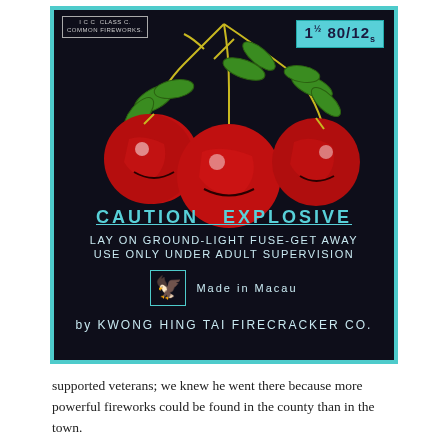[Figure (photo): Vintage firecracker package label with dark background featuring three red cherries on a branch with green leaves. Top left has 'ICC CLASS C COMMON FIREWORKS' label. Top right has cyan price tag '1½ 80/12s'. Bottom text reads 'CAUTION EXPLOSIVE', 'LAY ON GROUND-LIGHT FUSE-GET AWAY', 'USE ONLY UNDER ADULT SUPERVISION', eagle logo, 'Made in Macau', 'by KWONG HING TAI FIRECRACKER CO.' Package surrounded by cyan border.]
supported veterans; we knew he went there because more powerful fireworks could be found in the county than in the town.